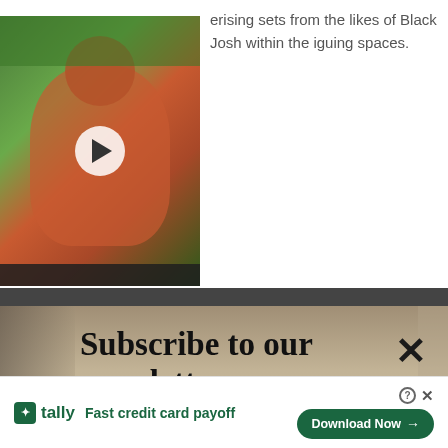[Figure (photo): Video thumbnail showing a person in a pink/red top in an outdoor garden setting with a play button overlay and dark control bar at bottom]
erising sets from the likes of Black Josh within the iguing spaces.
Subscribe to our newsletter
Your e-mail address    SIGN UP
[Figure (screenshot): Annotation with wavy line and circular X close button]
[Figure (screenshot): Advertisement banner for Tally app - Fast credit card payoff with Download Now button]